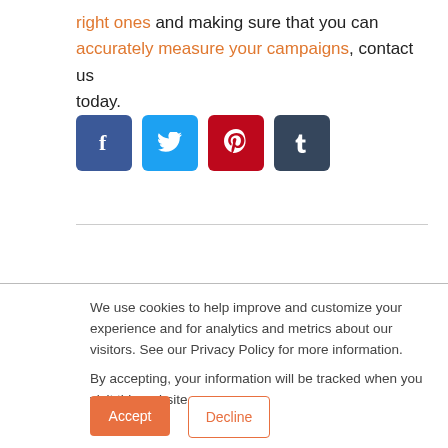right ones and making sure that you can accurately measure your campaigns, contact us today.
[Figure (infographic): Four social media share buttons: Facebook (dark blue), Twitter (light blue), Pinterest (red), Tumblr (dark slate)]
We use cookies to help improve and customize your experience and for analytics and metrics about our visitors. See our Privacy Policy for more information.

By accepting, your information will be tracked when you visit this website.